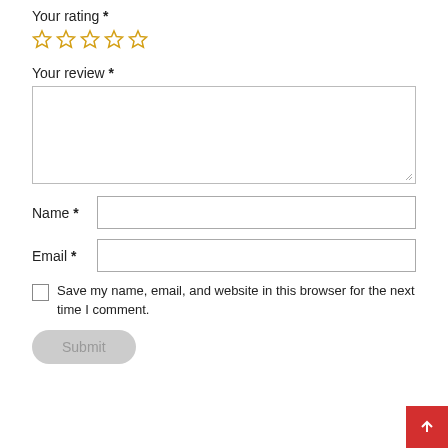Your rating *
[Figure (other): Five empty star rating icons in gold/yellow outline]
Your review *
[Figure (other): Empty text area input box for review]
Name *
[Figure (other): Name input field]
Email *
[Figure (other): Email input field]
[Figure (other): Unchecked checkbox]
Save my name, email, and website in this browser for the next time I comment.
[Figure (other): Greyed out Submit button with rounded corners]
[Figure (other): Red back-to-top button with white upward arrow, bottom right corner]